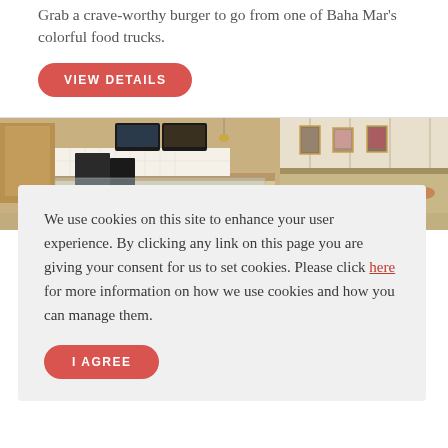Grab a crave-worthy burger to go from one of Baha Mar’s colorful food trucks.
VIEW DETAILS
[Figure (photo): Interior of a upscale cafe/bakery with glass display counters, overhead monitors showing menus, and framed artwork on paneled walls. The counter displays pastries and food items with warm lighting.]
We use cookies on this site to enhance your user experience. By clicking any link on this page you are giving your consent for us to set cookies. Please click here for more information on how we use cookies and how you can manage them.
I AGREE